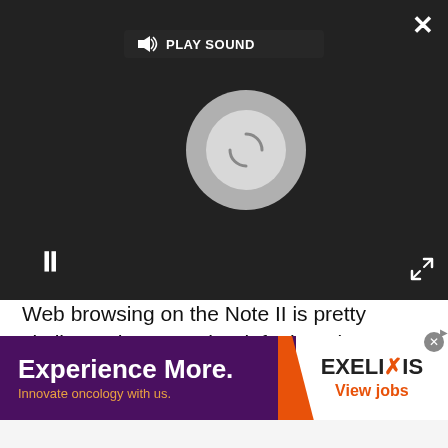[Figure (screenshot): Video player overlay with dark background showing a loading spinner circle, pause button (||), PLAY SOUND button with speaker icon, close (×) button top right, and expand/fullscreen button bottom right]
Web browsing on the Note II is pretty similar to the S III. The default Web browser is present for normal surfing, but Samsung includes a popup browser to quickly check out links in apps like Email so you don't have to leave the app. Users can expand the mini browser to full screen, but it can't be used for downloading.
Apps
On the Samsung front, there's Kies air and AllShare
[Figure (screenshot): Advertisement banner: left side dark purple background with orange diagonal accent showing 'Experience More.' in white bold text and 'Innovate oncology with us.' in orange text; right side white background showing EXELIXIS logo with orange X and 'View jobs' in orange text]